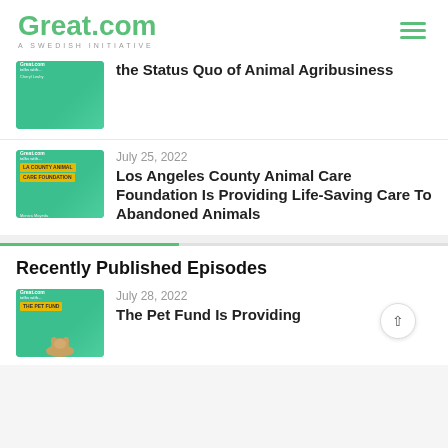Great.com — A SWEDISH INITIATIVE
the Status Quo of Animal Agribusiness
July 25, 2022
Los Angeles County Animal Care Foundation Is Providing Life-Saving Care To Abandoned Animals
Recently Published Episodes
July 28, 2022
The Pet Fund Is Providing